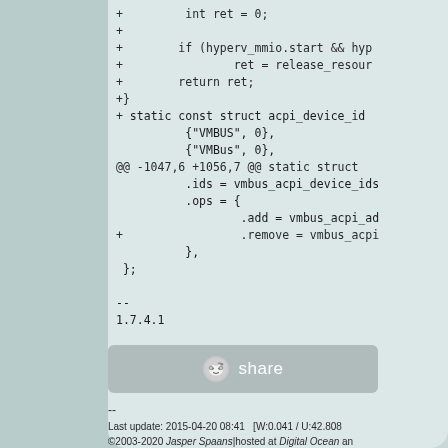Code diff showing: + int ret = 0; + if (hyperv_mmio.start && hyp + ret = release_resour + return ret; +} + static const struct acpi_device_id {"VMBUS", 0}, {"VMBus", 0}, @@ -1047,6 +1056,7 @@ static struct .ids = vmbus_acpi_device_ids .ops = { .add = vmbus_acpi_ad + .remove = vmbus_acpi }, }; -- 1.7.4.1
[Figure (other): Share button with Reddit alien icon and 'share' text]
Last update: 2015-04-20 08:41   [W:0.041 / U:42.808 ©2003-2020 Jasper Spaans|hosted at Digital Ocean an